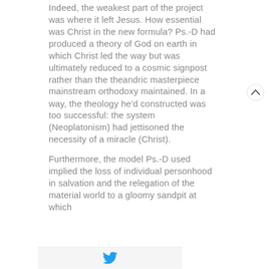Indeed, the weakest part of the project was where it left Jesus. How essential was Christ in the new formula? Ps.-D had produced a theory of God on earth in which Christ led the way but was ultimately reduced to a cosmic signpost rather than the theandric masterpiece mainstream orthodoxy maintained. In a way, the theology he'd constructed was too successful: the system (Neoplatonism) had jettisoned the necessity of a miracle (Christ).

Furthermore, the model Ps.-D used implied the loss of individual personhood in salvation and the relegation of the material world to a gloomy sandpit at which
[Figure (other): Circular scroll-to-top button with an upward-pointing chevron arrow, overlapping the second paragraph]
[Figure (logo): Twitter bird logo icon in blue, centered in a light grey bottom bar]